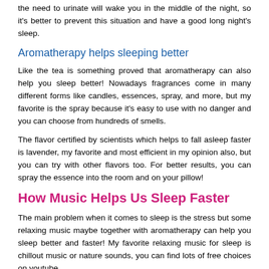the need to urinate will wake you in the middle of the night, so it's better to prevent this situation and have a good long night's sleep.
Aromatherapy helps sleeping better
Like the tea is something proved that aromatherapy can also help you sleep better! Nowadays fragrances come in many different forms like candles, essences, spray, and more, but my favorite is the spray because it's easy to use with no danger and you can choose from hundreds of smells.
The flavor certified by scientists which helps to fall asleep faster is lavender, my favorite and most efficient in my opinion also, but you can try with other flavors too. For better results, you can spray the essence into the room and on your pillow!
How Music Helps Us Sleep Faster
The main problem when it comes to sleep is the stress but some relaxing music maybe together with aromatherapy can help you sleep better and faster! My favorite relaxing music for sleep is chillout music or nature sounds, you can find lots of free choices on youtube.